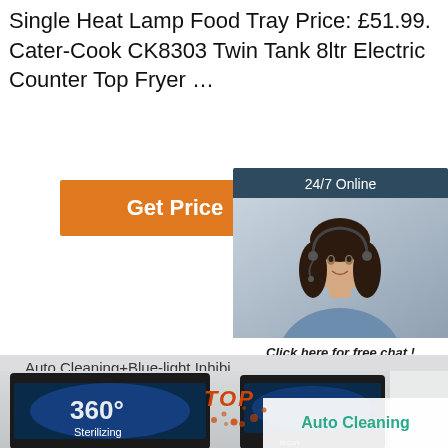Single Heat Lamp Food Tray Price: £51.99. Cater-Cook CK8303 Twin Tank 8ltr Electric Counter Top Fryer …
[Figure (screenshot): Orange 'Get Price' button on white background]
[Figure (screenshot): 24/7 Online chat widget with woman wearing headset. Includes 'Click here for free chat!' text and orange QUOTATION button.]
[Figure (screenshot): Product image showing ice maker machine with blue light, '360° Sterilizing' text, Auto Cleaning+Blue-light Inhibi... banner, lecon brand logo, and Auto Cleaning label with TOP badge]